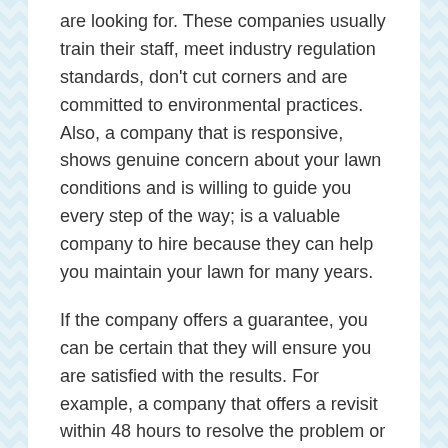are looking for. These companies usually train their staff, meet industry regulation standards, don't cut corners and are committed to environmental practices. Also, a company that is responsive, shows genuine concern about your lawn conditions and is willing to guide you every step of the way; is a valuable company to hire because they can help you maintain your lawn for many years.
If the company offers a guarantee, you can be certain that they will ensure you are satisfied with the results. For example, a company that offers a revisit within 48 hours to resolve the problem or a company that is willing to reapply services with no additional charges is a guarantee from the company.
3. Comprehensive Services